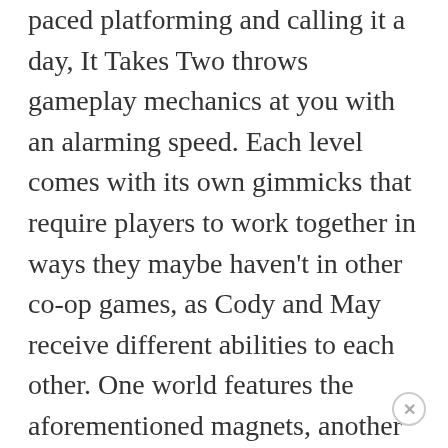paced platforming and calling it a day, It Takes Two throws gameplay mechanics at you with an alarming speed. Each level comes with its own gimmicks that require players to work together in ways they maybe haven't in other co-op games, as Cody and May receive different abilities to each other. One world features the aforementioned magnets, another involves clones and time manipulation, but there's a ton more to enjoy.
I said something similar about Resident Evil Village during these Best Games of 2021 articles that it's hard to predict where that game would go next, and the same is definitely true of It Takes Two. Sure, it's a